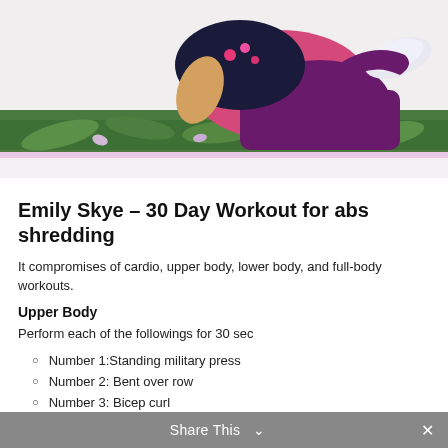[Figure (photo): Woman doing abdominal crunches exercise on a colorful floral yoga mat, wearing purple leggings and a floral top, with white sneakers visible]
Emily Skye – 30 Day Workout for abs shredding
It compromises of cardio, upper body, lower body, and full-body workouts.
Upper Body
Perform each of the followings for 30 sec
Number 1:Standing military press
Number 2: Bent over row
Number 3: Bicep curl
Number 4; Triceps kickbacks
Share This  ∨  ✕